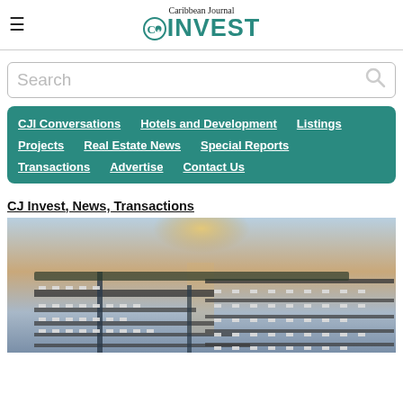Caribbean Journal CJ INVEST
Search
CJI Conversations  Hotels and Development  Listings  Projects  Real Estate News  Special Reports  Transactions  Advertise  Contact Us
CJ Invest, News, Transactions
[Figure (photo): Aerial view of a marina with many boats docked in slips, calm water, sunset light reflecting on the water in the background.]